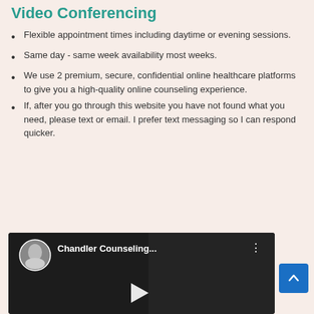Video Conferencing
Flexible appointment times including daytime or evening sessions.
Same day - same week availability most weeks.
We use 2 premium, secure, confidential online healthcare platforms to give you a high-quality online counseling experience.
If, after you go through this website you have not found what you need, please text or email. I prefer text messaging so I can respond quicker.
[Figure (screenshot): Video player thumbnail showing Chandler Counseling YouTube channel with an older man, circular avatar photo of a woman, title 'Chandler Counseling...', three-dot menu, and play button overlay.]